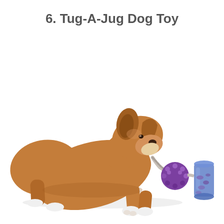6. Tug-A-Jug Dog Toy
[Figure (photo): A brown short-haired dog lying down, biting and pawing at a purple Tug-A-Jug dog toy. The toy consists of a purple spiky ball attached via rope to a clear purple cylindrical jug filled with treats. White background.]